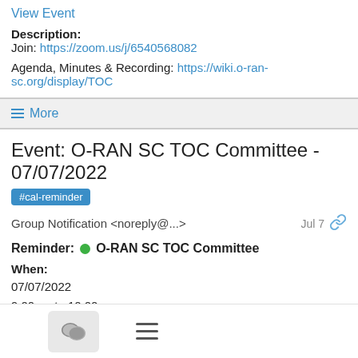View Event
Description:
Join: https://zoom.us/j/6540568082

Agenda, Minutes & Recording: https://wiki.o-ran-sc.org/display/TOC
≡ More
Event: O-RAN SC TOC Committee - 07/07/2022
#cal-reminder
Group Notification <noreply@...>   Jul 7
Reminder: ● O-RAN SC TOC Committee
When:
07/07/2022
9:00am to 10:00am
(UTC-04:00) America/New York